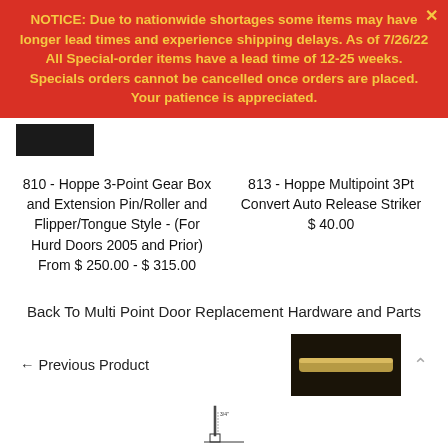NOTICE: Due to nationwide shortages some items may have longer lead times and experience shipping delays. As of 7/26/22 All Special-order items have a lead time of 12-25 weeks. Specials orders cannot be cancelled once orders are placed. Your patience is appreciated.
810 - Hoppe 3-Point Gear Box and Extension Pin/Roller and Flipper/Tongue Style - (For Hurd Doors 2005 and Prior)
From $ 250.00 - $ 315.00
813 - Hoppe Multipoint 3Pt Convert Auto Release Striker
$ 40.00
Back To Multi Point Door Replacement Hardware and Parts
← Previous Product
[Figure (photo): Small thumbnail image of a door hardware product, gold/brass colored bar on dark background]
[Figure (engineering-diagram): Technical line diagram of a door component, partially visible at bottom of page]